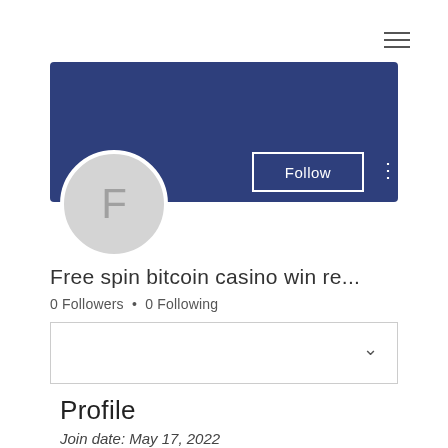[Figure (screenshot): Hamburger menu icon (three horizontal lines) in top right corner]
[Figure (illustration): Blue banner/cover photo background, dark navy blue rectangle]
[Figure (illustration): Circular avatar with letter F on gray background, with Follow button and three-dot menu on the banner]
Free spin bitcoin casino win re...
0 Followers • 0 Following
[Figure (screenshot): Dropdown selector box with chevron/caret down icon]
Profile
Join date: May 17, 2022